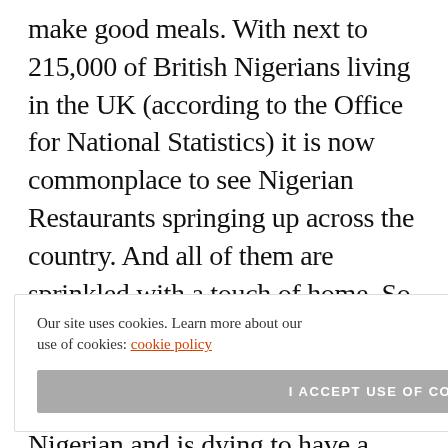make good meals. With next to 215,000 of British Nigerians living in the UK (according to the Office for National Statistics) it is now commonplace to see Nigerian Restaurants springing up across the country. And all of them are sprinkled with a touch of home. So have you arrived in London and are desirous of trying out some Nigerian foods? Or are you a Nigerian and is dying to have a taste of some homemade meals? We've got your back. We have selected 10 of the best Nigerian Restaurants in
Our site uses cookies. Learn more about our use of cookies: cookie policy
I ACCEPT USE OF COOKIES